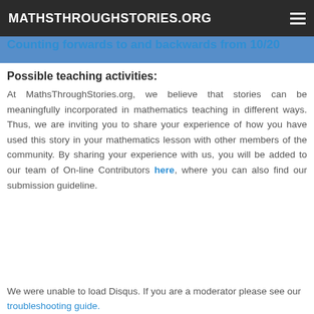MATHSTHROUGHSTORIES.ORG
Counting forwards to and backwards from 10/20
Possible teaching activities:
At MathsThroughStories.org, we believe that stories can be meaningfully incorporated in mathematics teaching in different ways. Thus, we are inviting you to share your experience of how you have used this story in your mathematics lesson with other members of the community. By sharing your experience with us, you will be added to our team of On-line Contributors here, where you can also find our submission guideline.
We were unable to load Disqus. If you are a moderator please see our troubleshooting guide.